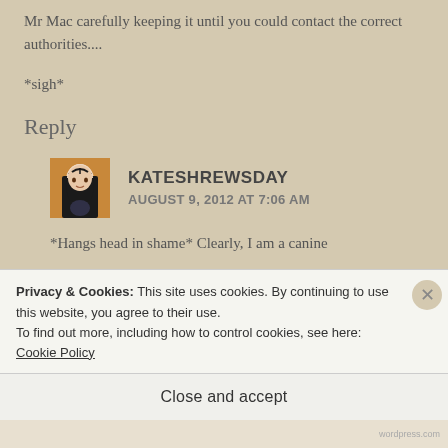Mr Mac carefully keeping it until you could contact the correct authorities....
*sigh*
Reply
[Figure (illustration): Small avatar image of a medieval-style painting of a woman in black and white religious habit on an orange/gold background]
KATESHREWSDAY
AUGUST 9, 2012 AT 7:06 AM
*Hangs head in shame* Clearly, I am a canine
Privacy & Cookies: This site uses cookies. By continuing to use this website, you agree to their use.
To find out more, including how to control cookies, see here: Cookie Policy
Close and accept